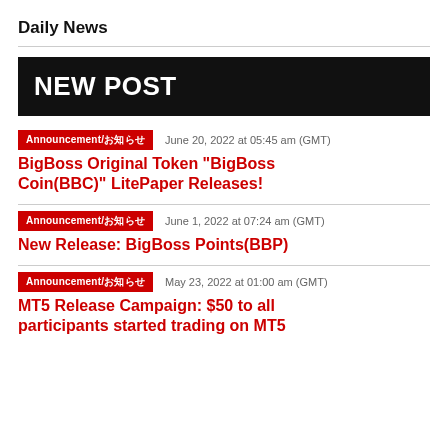Daily News
[Figure (other): NEW POST banner — black background with white bold text reading 'NEW POST']
Announcement/お知らせ   June 20, 2022 at 05:45 am (GMT)
BigBoss Original Token "BigBoss Coin(BBC)" LitePaper Releases!
Announcement/お知らせ   June 1, 2022 at 07:24 am (GMT)
New Release: BigBoss Points(BBP)
Announcement/お知らせ   May 23, 2022 at 01:00 am (GMT)
MT5 Release Campaign: $50 to all participants started trading on MT5